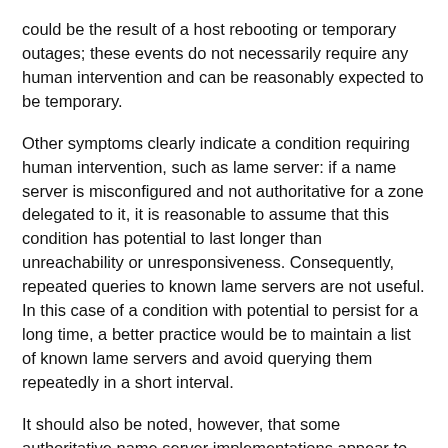could be the result of a host rebooting or temporary outages; these events do not necessarily require any human intervention and can be reasonably expected to be temporary.
Other symptoms clearly indicate a condition requiring human intervention, such as lame server: if a name server is misconfigured and not authoritative for a zone delegated to it, it is reasonable to assume that this condition has potential to last longer than unreachability or unresponsiveness. Consequently, repeated queries to known lame servers are not useful. In this case of a condition with potential to persist for a long time, a better practice would be to maintain a list of known lame servers and avoid querying them repeatedly in a short interval.
It should also be noted, however, that some authoritative name server implementations appear to be lame only for queries of certain types as described in RFC 4074 [5]. In this case, it makes sense to retry the "lame" servers for other types of queries, particularly when all known authoritative